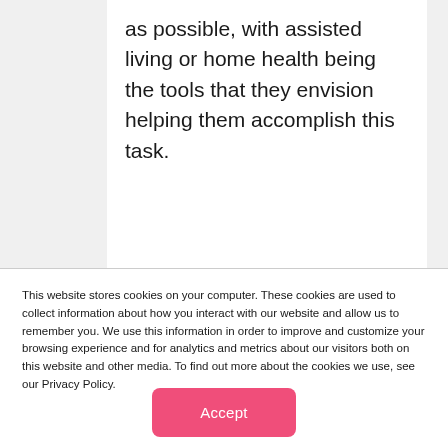as possible, with assisted living or home health being the tools that they envision helping them accomplish this task.
This website stores cookies on your computer. These cookies are used to collect information about how you interact with our website and allow us to remember you. We use this information in order to improve and customize your browsing experience and for analytics and metrics about our visitors both on this website and other media. To find out more about the cookies we use, see our Privacy Policy.
Accept